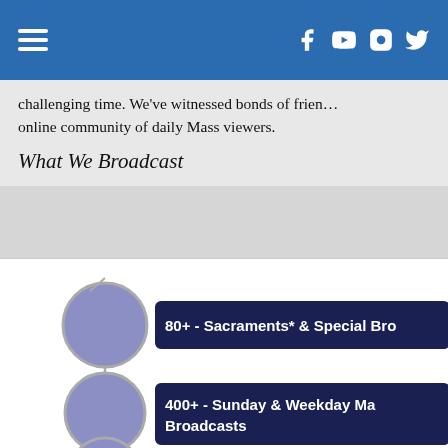Navigation bar with hamburger menu and social icons (Facebook, YouTube, Instagram, Twitter)
challenging time. We've witnessed bonds of frien… online community of daily Mass viewers.
What We Broadcast
[Figure (infographic): Infographic showing broadcast statistics with connected circles and dark navy banners: 80+ Sacraments & Special Broadcasts, 400+ Sunday & Weekday Mass Broadcasts, 14,200+ Combined Minutes Recorded]